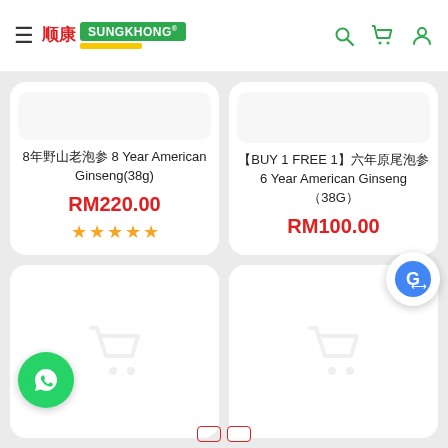SungKhong - Navigation header with logo, search, cart, and user icons
8年野山老泡参 8 Year American Ginseng(38g)
RM220.00
★★★★★
【BUY 1 FREE 1】六年原尾泡参 6 Year American Ginseng（38G）
RM100.00
[Figure (other): Empty product card with cart icon placeholder - bottom left]
[Figure (other): Empty product card with cart icon placeholder - bottom right]
[Figure (other): WhatsApp chat button - green circle with WhatsApp icon]
[Figure (other): Google Translate floating button]